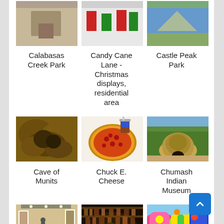[Figure (photo): Calabasas Creek Park thumbnail (partially cut off at top)]
Calabasas Creek Park
[Figure (photo): Candy Cane Lane - Christmas displays, residential area thumbnail (partially cut off at top)]
Candy Cane Lane - Christmas displays, residential area
[Figure (photo): Castle Peak Park thumbnail (partially cut off at top)]
Castle Peak Park
[Figure (photo): Cave of Munits - close-up of rock formation]
Cave of Munits
[Figure (photo): Chuck E. Cheese - pizza on table]
Chuck E. Cheese
[Figure (photo): Chumash Indian Museum - thatched dome structure outdoors]
Chumash Indian Museum
[Figure (photo): Conejo Valley Art Museum - interior gallery view]
Conejo Valley Art Museum
[Figure (photo): Enchanted Escape Room - dimly lit room with shelves]
Enchanted Escape Room
[Figure (photo): FUNBOX Woodland Hills - colorful inflatable bounce structures]
FUNBOX Woodland Hills